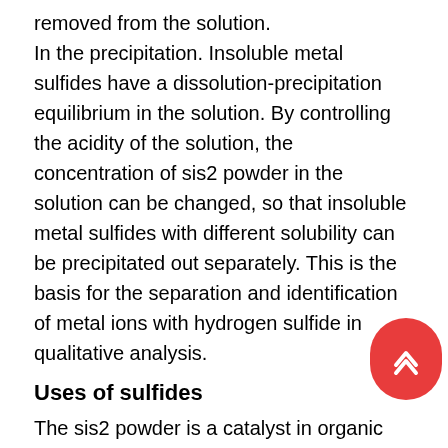removed from the solution.
In the precipitation. Insoluble metal sulfides have a dissolution-precipitation equilibrium in the solution. By controlling the acidity of the solution, the concentration of sis2 powder in the solution can be changed, so that insoluble metal sulfides with different solubility can be precipitated out separately. This is the basis for the separation and identification of metal ions with hydrogen sulfide in qualitative analysis.
Uses of sulfides
The sis2 powder is a catalyst in organic synthesis. Because sulfur-containing organic compounds (such as thiophene) can poison ordinary hydrogenation catalysts, sis2 powder can be used to catalyze the hydrogenation reaction of sulfur-containing organic substances. Cadmium sulfide can be used to make photovoltaic cells. Lead